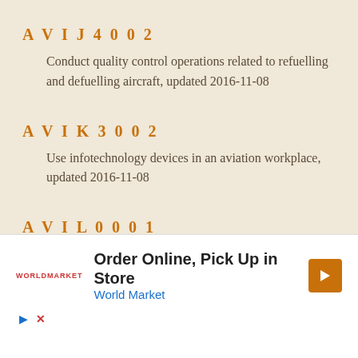AVIJ4002
Conduct quality control operations related to refuelling and defuelling aircraft, updated 2016-11-08
AVIK3002
Use infotechnology devices in an aviation workplace, updated 2016-11-08
AVIL0001
[Figure (other): Advertisement overlay: Order Online, Pick Up in Store - World Market with navigation arrow icon and media controls]